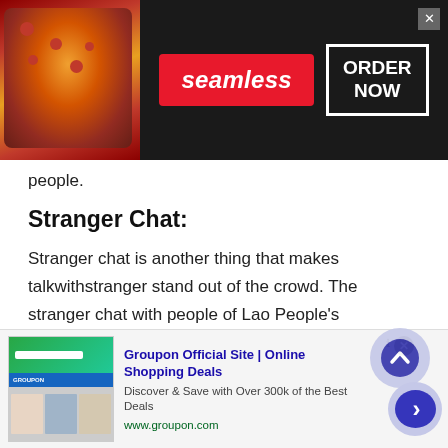[Figure (screenshot): Seamless food delivery advertisement banner with pizza image on left, red Seamless logo badge in center, and ORDER NOW button in white border on dark background]
people.
Stranger Chat:
Stranger chat is another thing that makes talkwithstranger stand out of the crowd. The stranger chat with people of Lao People's Democratic Republic is a type of a chatroom where you get to chat with a stranger who you have never met in your life. You can also use the facility of video call, voice call, or multimedia sharing. Moreover, the
[Figure (screenshot): Groupon advertisement banner showing Groupon Official Site | Online Shopping Deals - Discover & Save with Over 300k of the Best Deals - www.groupon.com, with thumbnail images of deals on left]